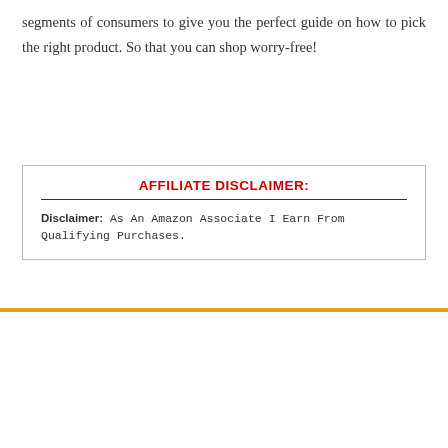segments of consumers to give you the perfect guide on how to pick the right product. So that you can shop worry-free!
AFFILIATE DISCLAIMER: Disclaimer: As An Amazon Associate I Earn From Qualifying Purchases.
or $9.99
ber Money Clip F